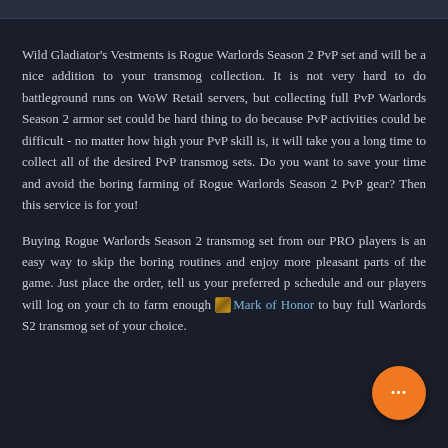Wild Gladiator's Vestments is Rogue Warlords Season 2 PvP set and will be a nice addition to your transmog collection. It is not very hard to do battleground runs on WoW Retail servers, but collecting full PvP Warlords Season 2 armor set could be hard thing to do because PvP activities could be difficult - no matter how high your PvP skill is, it will take you a long time to collect all of the desired PvP transmog sets. Do you want to save your time and avoid the boring farming of Rogue Warlords Season 2 PvP gear? Then this service is for you!
Buying Rogue Warlords Season 2 transmog set from our PRO players is an easy way to skip the boring routines and enjoy more pleasant parts of the game. Just place the order, tell us your preferred schedule and our players will log on your character to farm enough Mark of Honor to buy full Warlords S2 transmog set of your choice.